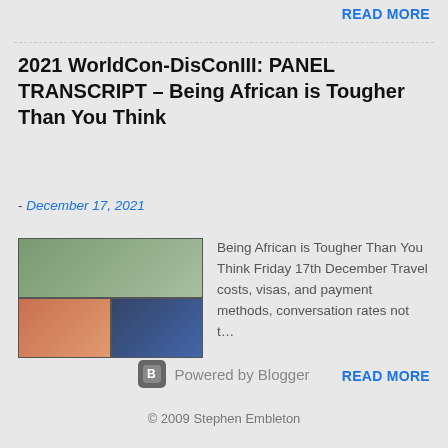READ MORE
2021 WorldCon-DisConIII: PANEL TRANSCRIPT – Being African is Tougher Than You Think
- December 17, 2021
[Figure (screenshot): Screenshot of a video call panel with two participants visible in grid view]
Being African is Tougher Than You Think Friday 17th December Travel costs, visas, and payment methods, conversation rates not t…
READ MORE
Powered by Blogger
© 2009 Stephen Embleton